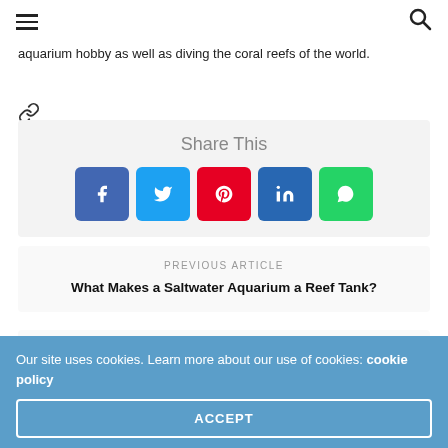≡  🔍
aquarium hobby as well as diving the coral reefs of the world.
[Figure (other): Link/share icon (chain link symbol)]
[Figure (infographic): Share This section with social media buttons: Facebook, Twitter, Pinterest, LinkedIn, WhatsApp]
PREVIOUS ARTICLE
What Makes a Saltwater Aquarium a Reef Tank?
NEXT ARTICLE
Our site uses cookies. Learn more about our use of cookies: cookie policy
ACCEPT